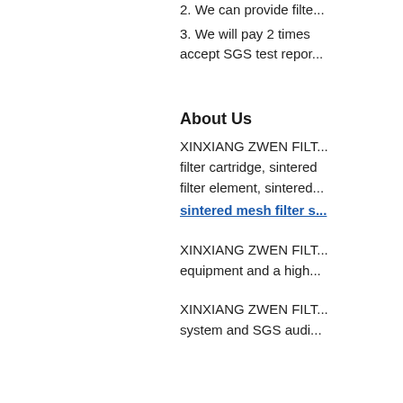2. We can provide filt...
3. We will pay 2 times ... accept SGS test repor...
About Us
XINXIANG ZWEN FILT... filter cartridge, sintered... filter element, sintered...
sintered mesh filter s...
XINXIANG ZWEN FILT... equipment and a high...
XINXIANG ZWEN FILT... system and SGS audi...